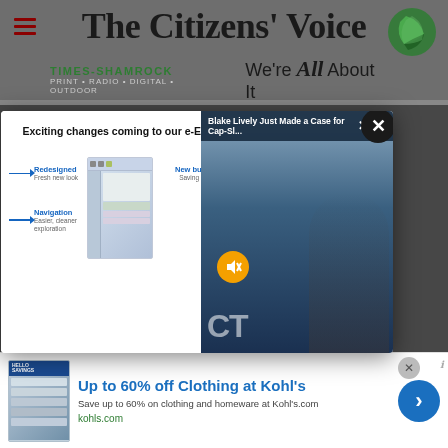The Citizens' Voice — Times-Shamrock: Print · Radio · Digital · Outdoor — We're All About It
[Figure (screenshot): Popup modal dialog showing 'Exciting changes coming to our e-Editions' with diagram showing Redesigned (Fresh new look), Navigation (Easier, cleaner exploration), New buttons features, with arrow labels pointing to a screenshot of the e-Edition interface. A video overlay shows Blake Lively with title 'Blake Lively Just Made a Case for Cap-Sl...' and a mute button.]
[Figure (screenshot): Advertisement banner at bottom: 'Up to 60% off Clothing at Kohl's — Save up to 60% on clothing and homeware at Kohl's.com — kohls.com' with an image of Hello Savings Kohl's promotion and a blue arrow button.]